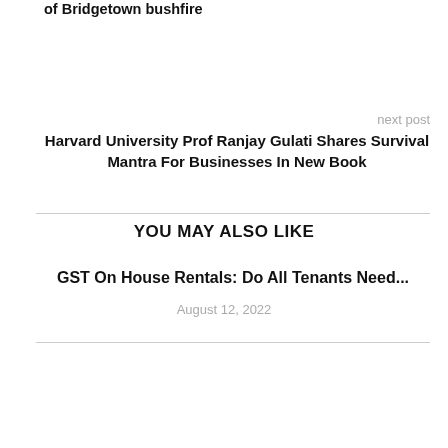of Bridgetown bushfire
next post
Harvard University Prof Ranjay Gulati Shares Survival Mantra For Businesses In New Book
YOU MAY ALSO LIKE
GST On House Rentals: Do All Tenants Need...
August 12, 2022